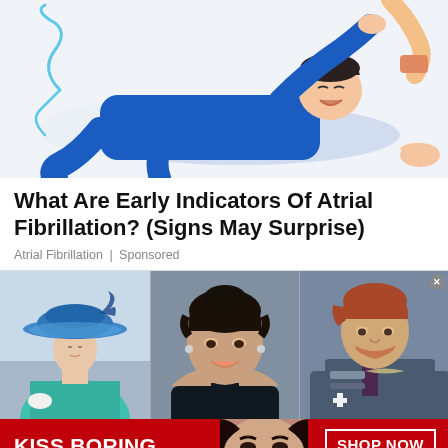[Figure (illustration): Cartoon/illustration of a person in blue clothing lying down receiving medical attention, with medical equipment visible]
What Are Early Indicators Of Atrial Fibrillation? (Signs May Surprise)
Atrial Fibrillation | Sponsored
[Figure (photo): Three-panel photo: left shows Queen Elizabeth II wearing a blue hat and teal outfit; center shows Meghan Markle in a dark outfit smiling; right shows Prince Harry in military uniform]
[Figure (photo): Macy's advertisement banner: red background with 'KISS BORING LIPS GOODBYE' text in white, woman's face with red lips, 'SHOP NOW' button, and Macy's star logo]